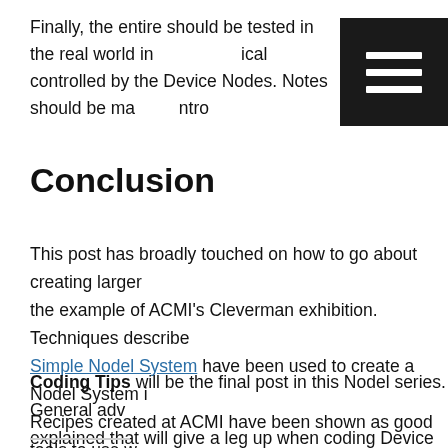Finally, the entire should be tested in the real world in physical locations controlled by the Device Nodes. Notes should be made on how to control
Conclusion
This post has broadly touched on how to go about creating larger systems using the example of ACMI's Cleverman exhibition. Techniques described in Simple Nodel System have been used to create a Nodel System in a larger scale. Recipes created at ACMI have been shown as good tools to use when they are quick to implement, and flexible enough to update in a easy manner without new code. It was also shown that planning Nodel Systems in a methodical way can save time in the future.
Coding Tips will be the final post in this Nodel series. General advice will be explained that will give a leg up when coding Device Node Recipes.